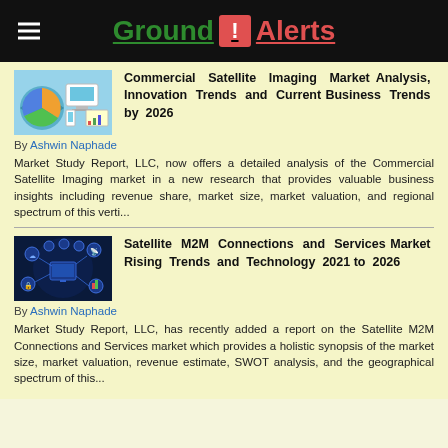Ground ! Alerts
Commercial Satellite Imaging Market Analysis, Innovation Trends and Current Business Trends by 2026
By Ashwin Naphade
Market Study Report, LLC, now offers a detailed analysis of the Commercial Satellite Imaging market in a new research that provides valuable business insights including revenue share, market size, market valuation, and regional spectrum of this verti...
Satellite M2M Connections and Services Market Rising Trends and Technology 2021 to 2026
By Ashwin Naphade
Market Study Report, LLC, has recently added a report on the Satellite M2M Connections and Services market which provides a holistic synopsis of the market size, market valuation, revenue estimate, SWOT analysis, and the geographical spectrum of this...